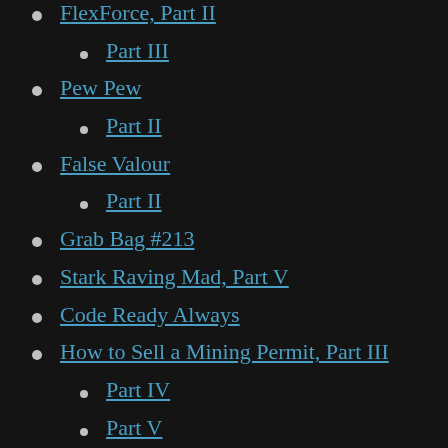FlexForce, Part II
Part III
Pew Pew
Part II
False Valour
Part II
Grab Bag #213
Stark Raving Mad, Part V
Code Ready Always
How to Sell a Mining Permit, Part III
Part IV
Part V
Part VI
Part VII